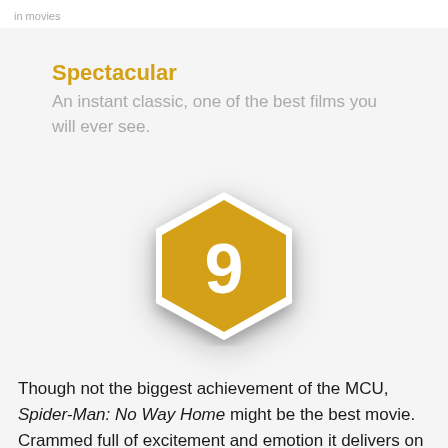Spectacular
An instant classic, one of the best films you will ever see.
[Figure (infographic): Golden hexagon badge with the number 9 in white, representing a review score]
Though not the biggest achievement of the MCU, Spider-Man: No Way Home might be the best movie. Crammed full of excitement and emotion it delivers on all fronts.